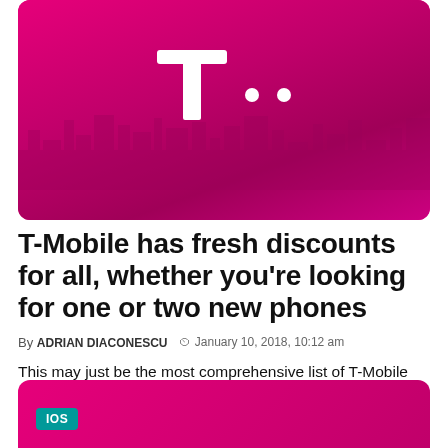[Figure (photo): T-Mobile hero banner image with magenta/pink background showing a city skyline silhouette and the T-Mobile logo (T with two dots) in white]
T-Mobile has fresh discounts for all, whether you're looking for one or two new phones
By ADRIAN DIACONESCU   January 10, 2018, 10:12 am
This may just be the most comprehensive list of T-Mobile deals unveiled in quite some time, catering to iOS and Android fans, switchers, traders and BOGO hunters.
[Figure (photo): Partial view of a second article image with magenta background and an iOS badge label in teal/cyan color]